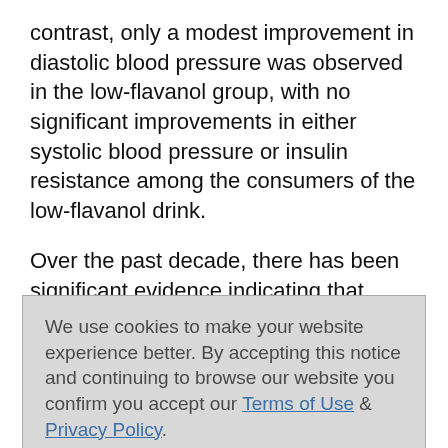contrast, only a modest improvement in diastolic blood pressure was observed in the low-flavanol group, with no significant improvements in either systolic blood pressure or insulin resistance among the consumers of the low-flavanol drink.
Over the past decade, there has been significant evidence indicating that consuming cocoa flavanols improves vascular function. Dr. Catherine Kwik-Uribe, human health and nutrition director at Mars, Incorporated, and co-author on this latest study, said
We use cookies to make your website experience better. By accepting this notice and continuing to browse our website you confirm you accept our Terms of Use & Privacy Policy.

read more >>

I Accept
research program that has spanned over two decades: